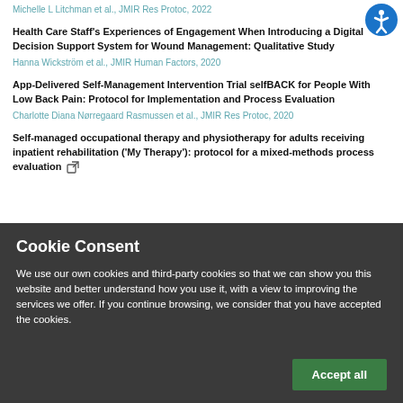Michelle L Litchman et al., JMIR Res Protoc, 2022
Health Care Staff’s Experiences of Engagement When Introducing a Digital Decision Support System for Wound Management: Qualitative Study
Hanna Wickström et al., JMIR Human Factors, 2020
App-Delivered Self-Management Intervention Trial selfBACK for People With Low Back Pain: Protocol for Implementation and Process Evaluation
Charlotte Diana Nørregaard Rasmussen et al., JMIR Res Protoc, 2020
Self-managed occupational therapy and physiotherapy for adults receiving inpatient rehabilitation (‘My Therapy’): protocol for a mixed-methods process evaluation
Cookie Consent
We use our own cookies and third-party cookies so that we can show you this website and better understand how you use it, with a view to improving the services we offer. If you continue browsing, we consider that you have accepted the cookies.